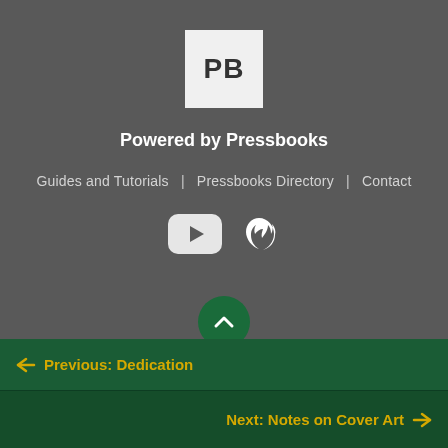[Figure (logo): Pressbooks logo — white 'PB' letters on a light grey square background]
Powered by Pressbooks
Guides and Tutorials | Pressbooks Directory | Contact
[Figure (infographic): YouTube and Twitter social media icons in white]
[Figure (infographic): Green circular up-arrow button]
← Previous: Dedication
Next: Notes on Cover Art →